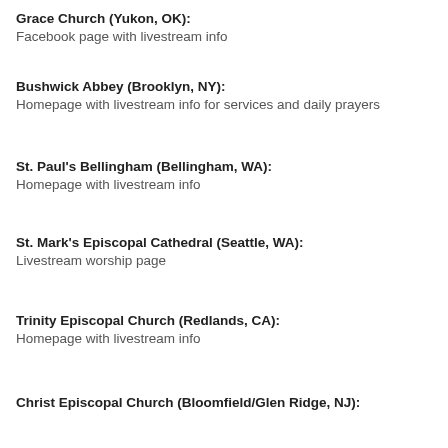Grace Church (Yukon, OK): Facebook page with livestream info
Bushwick Abbey (Brooklyn, NY): Homepage with livestream info for services and daily prayers
St. Paul's Bellingham (Bellingham, WA): Homepage with livestream info
St. Mark's Episcopal Cathedral (Seattle, WA): Livestream worship page
Trinity Episcopal Church (Redlands, CA): Homepage with livestream info
Christ Episcopal Church (Bloomfield/Glen Ridge, NJ):